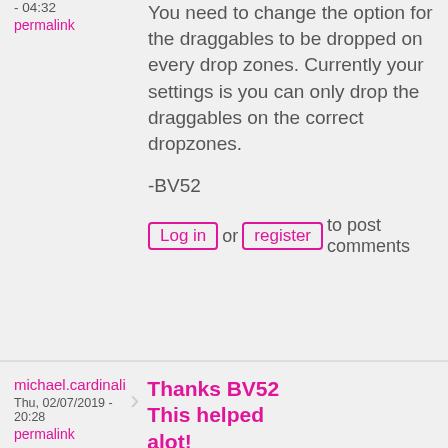- 04:32
permalink
You need to change the option for the draggables to be dropped on every drop zones. Currently your settings is you can only drop the draggables on the correct dropzones.
-BV52
Log in or register to post comments
michael.cardinali
Thu, 02/07/2019 - 20:28
permalink
Thanks BV52 This helped alot!
Thanks BV52